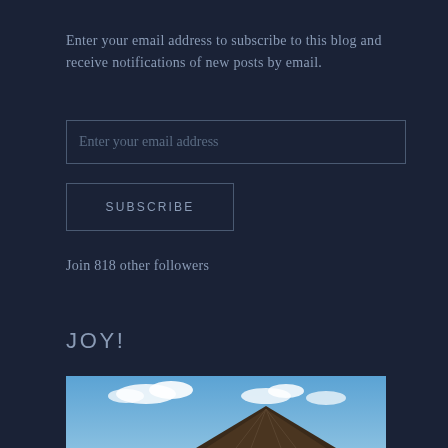Enter your email address to subscribe to this blog and receive notifications of new posts by email.
Enter your email address
SUBSCRIBE
Join 818 other followers
JOY!
[Figure (photo): Tropical beach scene with blue sky, clouds, and a thatched roof structure]